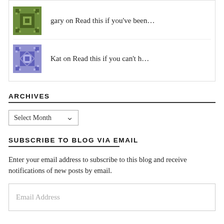gary on Read this if you've been…
Kat on Read this if you can't h…
ARCHIVES
Select Month
SUBSCRIBE TO BLOG VIA EMAIL
Enter your email address to subscribe to this blog and receive notifications of new posts by email.
Email Address